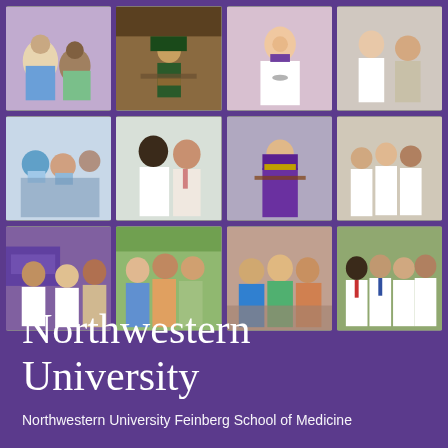[Figure (photo): A 4x3 grid of twelve photos showing Northwestern University Feinberg School of Medicine students, faculty, and events. Photos include students in white coats, a graduation ceremony with academic regalia, group photos outdoors, and celebrations. Purple and white color themes throughout.]
Northwestern University
Northwestern University Feinberg School of Medicine